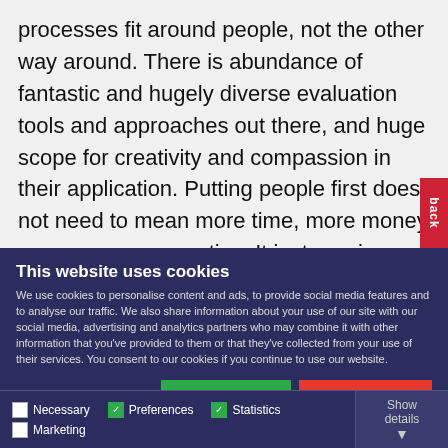processes fit around people, not the other way around. There is abundance of fantastic and hugely diverse evaluation tools and approaches out there, and huge scope for creativity and compassion in their application. Putting people first does not need to mean more time, more money or even more expertise. It just requires a different way of thinking.
This website uses cookies
We use cookies to personalise content and ads, to provide social media features and to analyse our traffic. We also share information about your use of our site with our social media, advertising and analytics partners who may combine it with other information that you've provided to them or that they've collected from your use of their services. You consent to our cookies if you continue to use our website.